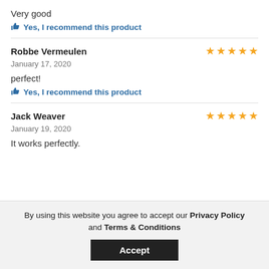Very good
Yes, I recommend this product
Robbe Vermeulen — 5 stars
January 17, 2020
perfect!
Yes, I recommend this product
Jack Weaver — 5 stars
January 19, 2020
It works perfectly.
By using this website you agree to accept our Privacy Policy and Terms & Conditions
Accept